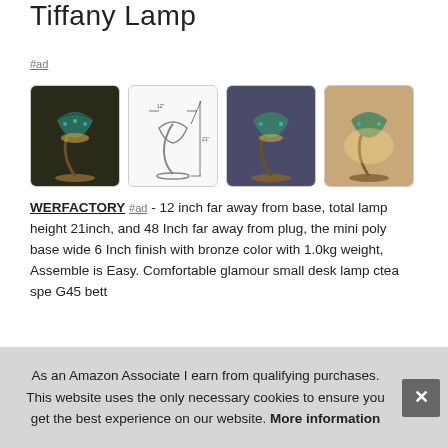Tiffany Lamp
#ad
[Figure (photo): Four product images of a Tiffany-style lamp: photo of lit lamp, dimension diagram, lit photo from different angle, photo with warm light]
WERFACTORY #ad - 12 inch far away from base, total lamp height 21inch, and 48 Inch far away from plug, the mini poly base wide 6 Inch finish with bronze color with 1.0kg weight, Assemble is Easy. Comfortable glamour small desk lamp ctea spe G45 bett
As an Amazon Associate I earn from qualifying purchases. This website uses the only necessary cookies to ensure you get the best experience on our website. More information